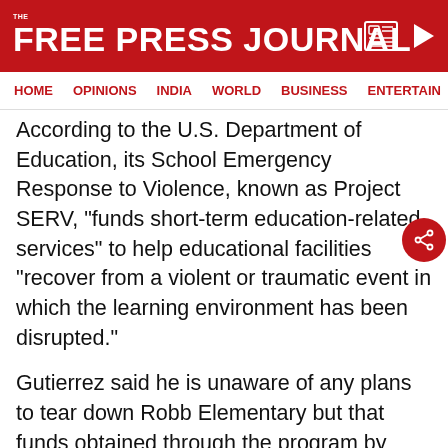THE FREE PRESS JOURNAL
HOME  OPINIONS  INDIA  WORLD  BUSINESS  ENTERTAIN
According to the U.S. Department of Education, its School Emergency Response to Violence, known as Project SERV, “funds short-term education-related services” to help educational facilities “recover from a violent or traumatic event in which the learning environment has been disrupted.”
Gutierrez said he is unaware of any plans to tear down Robb Elementary but that funds obtained through the program by other schools have traditionally been used to rebuild.
ADVERTISEMENT